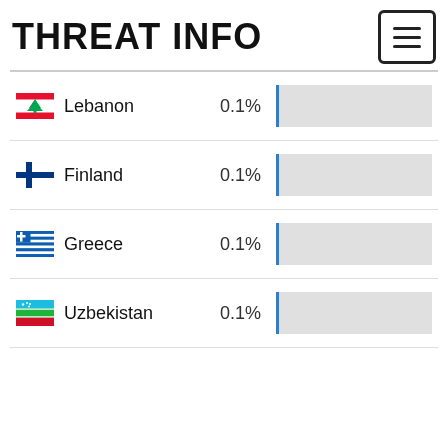THREAT INFO
| Country | Percent | Bar |
| --- | --- | --- |
| Lebanon | 0.1% |  |
| Finland | 0.1% |  |
| Greece | 0.1% |  |
| Uzbekistan | 0.1% |  |